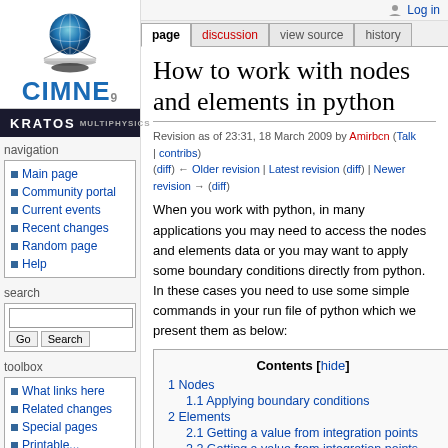Log in
[Figure (logo): CIMNE logo with blue sphere above pyramid, 'CIMNE' text in blue with superscript 9, and Kratos Multiphysics dark banner below]
navigation
Main page
Community portal
Current events
Recent changes
Random page
Help
search
toolbox
What links here
Related changes
Special pages
How to work with nodes and elements in python
Revision as of 23:31, 18 March 2009 by Amirbcn (Talk | contribs) (diff) ← Older revision | Latest revision (diff) | Newer revision → (diff)
When you work with python, in many applications you may need to access the nodes and elements data or you may want to apply some boundary conditions directly from python. In these cases you need to use some simple commands in your run file of python which we present them as below:
Contents [hide]
1 Nodes
  1.1 Applying boundary conditions
2 Elements
  2.1 Getting a value from integration points
  2.2 Getting a value from integration points in C++